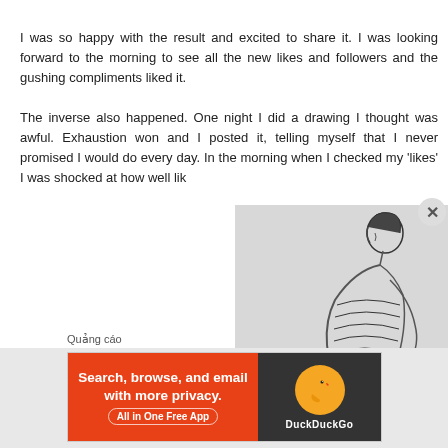I was so happy with the result and excited to share it. I was looking forward to the morning to see all the new likes and followers and the gushing compliments liked it.
The inverse also happened. One night I did a drawing I thought was awful. Exhaustion won and I posted it, telling myself that I never promised I would do every day. In the morning when I checked my 'likes' I was shocked at how well lik
[Figure (illustration): Pencil sketch illustration of a woman with short hair sitting, shown from the side/back, wearing a strapless dress, on a light gray background]
Quảng cáo
[Figure (screenshot): DuckDuckGo advertisement banner: orange left side with text 'Search, browse, and email with more privacy. All in One Free App' and dark right side with DuckDuckGo duck logo]